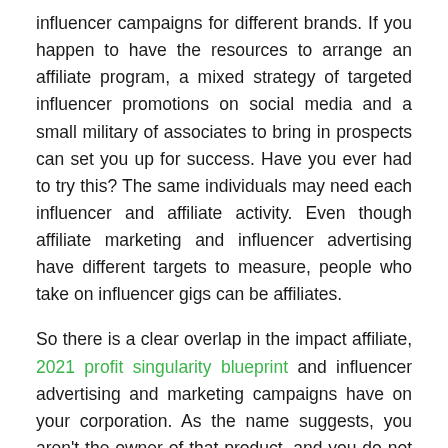influencer campaigns for different brands. If you happen to have the resources to arrange an affiliate program, a mixed strategy of targeted influencer promotions on social media and a small military of associates to bring in prospects can set you up for success. Have you ever had to try this? The same individuals may need each influencer and affiliate activity. Even though affiliate marketing and influencer advertising have different targets to measure, people who take on influencer gigs can be affiliates.
So there is a clear overlap in the impact affiliate, 2021 profit singularity blueprint and influencer advertising and marketing campaigns have on your corporation. As the name suggests, you aren't the owner of that product, and you do not have to worry about the logistics behind the acquisition or subscription. If you're fascinated about starting a profession in online marketing, you're in the precise place. In reality, there are different types of affiliate marketing, and although the one with a website is amongst